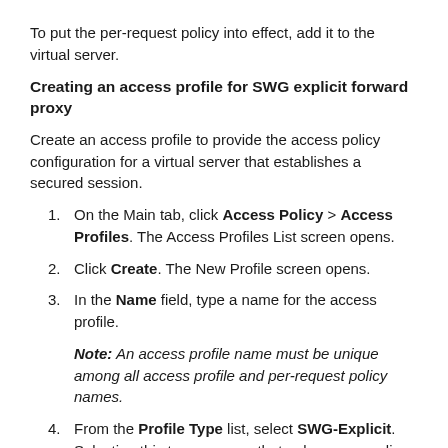To put the per-request policy into effect, add it to the virtual server.
Creating an access profile for SWG explicit forward proxy
Create an access profile to provide the access policy configuration for a virtual server that establishes a secured session.
1. On the Main tab, click Access Policy > Access Profiles. The Access Profiles List screen opens.
2. Click Create. The New Profile screen opens.
3. In the Name field, type a name for the access profile.
Note: An access profile name must be unique among all access profile and per-request policy names.
4. From the Profile Type list, select SWG-Explicit. Selecting this type ensures that only access policy items that are valid for Secure Web Gateway (SWG) explicit